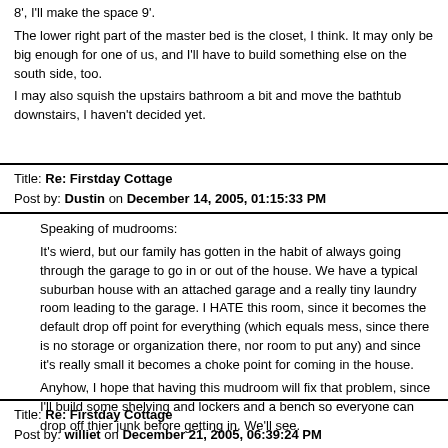8', I'll make the space 9'.
The lower right part of the master bed is the closet, I think. It may only be big enough for one of us, and I'll have to build something else on the south side, too.
I may also squish the upstairs bathroom a bit and move the bathtub downstairs, I haven't decided yet.
Title: Re: Firstday Cottage
Post by: Dustin on December 14, 2005, 01:15:33 PM
Speaking of mudrooms:
It's wierd, but our family has gotten in the habit of always going through the garage to go in or out of the house. We have a typical suburban house with an attached garage and a really tiny laundry room leading to the garage.  I HATE this room, since it becomes the default drop off point for everything (which equals mess, since there is no storage or organization there, nor room to put any) and since it's really small it becomes a choke point for coming in the house.
Anyhow, I hope that having this mudroom will fix that problem, since I'll build some shelving and lockers and a bench so everyone can drop off thier junk before getting in.  We'll see.
Title: Re: Firstday Cottage
Post by: williet on December 21, 2005, 06:39:24 PM